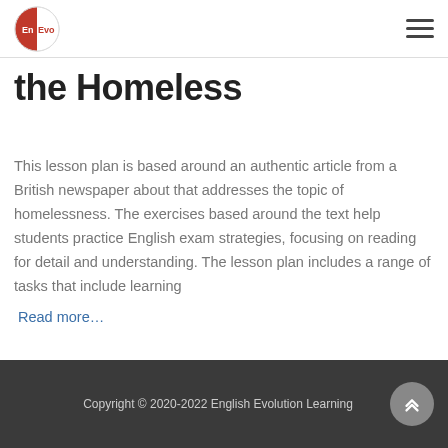EnEvo logo and navigation menu
the Homeless
This lesson plan is based around an authentic article from a British newspaper about that addresses the topic of homelessness. The exercises based around the text help students practice English exam strategies, focusing on reading for detail and understanding. The lesson plan includes a range of tasks that include learning Read more…
Copyright © 2020-2022 English Evolution Learning